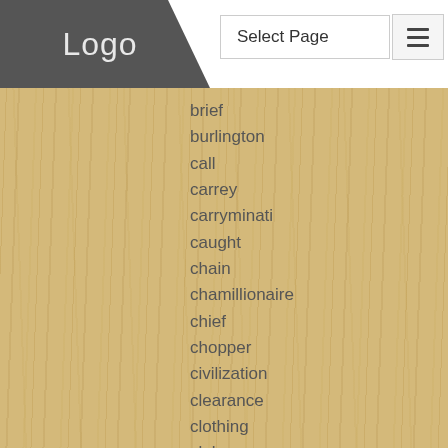[Figure (logo): Logo text on dark gray diagonal banner in top-left header]
Select Page
brief
burlington
call
carrey
carryminati
caught
chain
chamillionaire
chief
chopper
civilization
clearance
clothing
club
coated
convertible
copped
corduroy
creeran
curvy
custom
damen